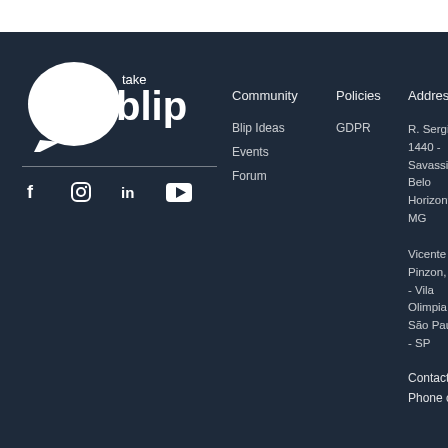[Figure (logo): Take Blip logo - white chat bubble with 'blip' text and 'take' above it]
[Figure (infographic): Social media icons: Facebook, Instagram, LinkedIn, YouTube in white]
Community
Blip Ideas
Events
Forum
Policies
GDPR
Address
R. Sergipe, 1440 - Savassi - Belo Horizonte - MG
Vicente Pinzon, 5 - Vila Olimpia - São Paulo - SP
Contact o
Phone o